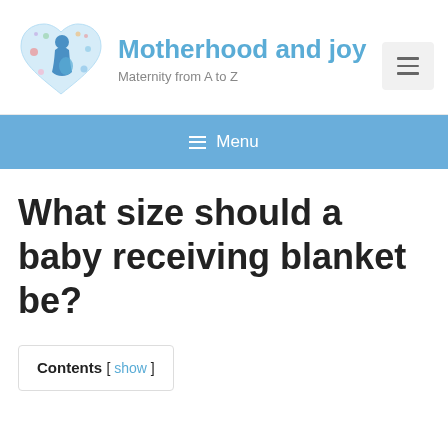[Figure (logo): Heart-shaped logo with a pregnant woman silhouette and baby-related icons in blue and pink]
Motherhood and joy
Maternity from A to Z
[Figure (other): Hamburger menu button (three horizontal lines)]
≡ Menu
What size should a baby receiving blanket be?
Contents [ show ]